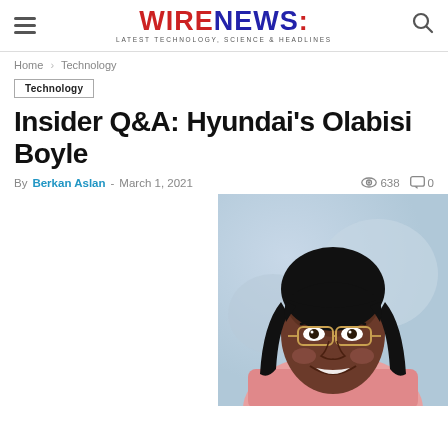WIRENEWS - LATEST TECHNOLOGY & HEADLINES
Home > Technology
Technology
Insider Q&A: Hyundai's Olabisi Boyle
By Berkan Aslan - March 1, 2021   638   0
[Figure (photo): Portrait photo of Olabisi Boyle, a woman with long black hair wearing glasses and a pink blazer, smiling, with a blurred blue/grey background.]